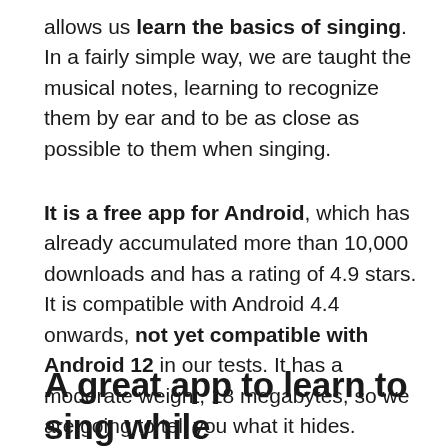allows us learn the basics of singing. In a fairly simple way, we are taught the musical notes, learning to recognize them by ear and to be as close as possible to them when singing.
It is a free app for Android, which has already accumulated more than 10,000 downloads and has a rating of 4.9 stars. It is compatible with Android 4.4 onwards, not yet compatible with Android 12 in our tests. It has a moderate weight, 18 megabytes, so we are going to tell you what it hides.
A great app to learn to sing while